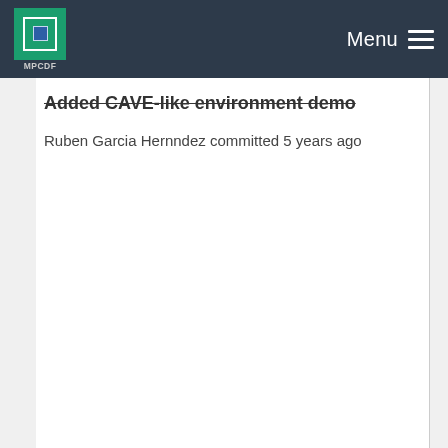MPCDF  Menu
Added CAVE-like environment demo
Ruben Garcia Hernndez committed 5 years ago